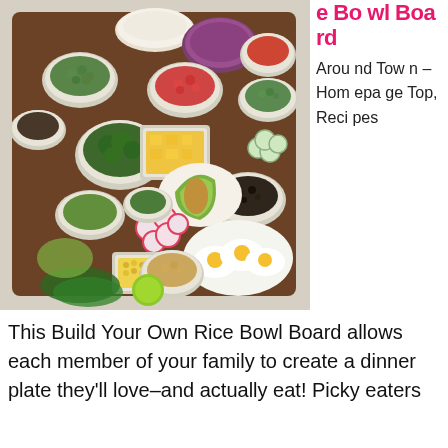[Figure (photo): Overhead view of a Build Your Own Rice Bowl Board on a wooden cutting board, featuring various bowls and dishes of ingredients including edamame, cherry tomatoes, peas, cucumber, mango, black beans, avocado, fried eggs, broccoli, radishes, jalapeños, corn, chickpeas, salsa, and sauce.]
e Bowl Board Around Town – Homepage Top, Recipes
This Build Your Own Rice Bowl Board allows each member of your family to create a dinner plate they'll love–and actually eat! Picky eaters